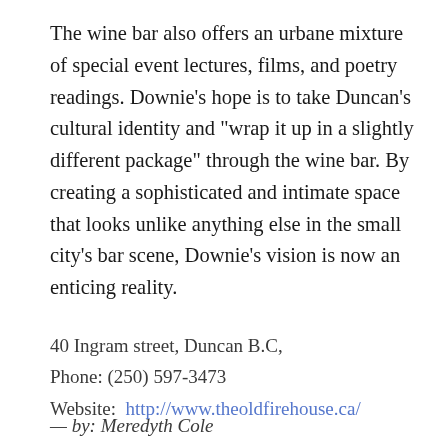The wine bar also offers an urbane mixture of special event lectures, films, and poetry readings. Downie's hope is to take Duncan's cultural identity and “wrap it up in a slightly different package” through the wine bar. By creating a sophisticated and intimate space that looks unlike anything else in the small city’s bar scene, Downie’s vision is now an enticing reality.
40 Ingram street, Duncan B.C,
Phone: (250) 597-3473
Website: http://www.theoldfirehouse.ca/
— by: Meredyth Cole